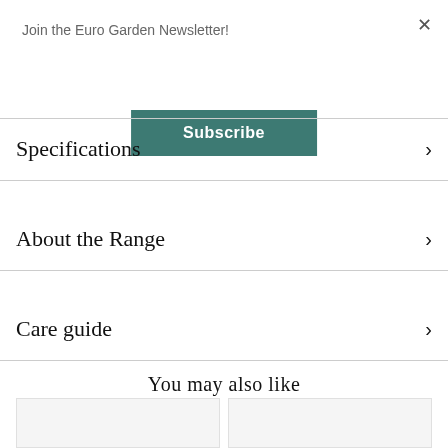Join the Euro Garden Newsletter!
Subscribe
Specifications
About the Range
Care guide
You may also like